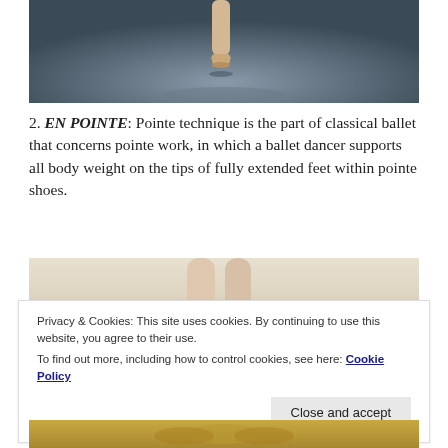[Figure (photo): Ballet dancer en pointe — view of feet in pointe shoes on a dark blueish-grey floor, cropped at ankle level]
2. EN POINTE: Pointe technique is the part of classical ballet that concerns pointe work, in which a ballet dancer supports all body weight on the tips of fully extended feet within pointe shoes.
[Figure (photo): Ballet dancer legs in pointe shoes, light beige/cream background, cropped mid-section]
Privacy & Cookies: This site uses cookies. By continuing to use this website, you agree to their use.
To find out more, including how to control cookies, see here: Cookie Policy
[Figure (photo): Ballet dancer feet and lower legs in golden/yellow pointe shoes, partial view at bottom of page]